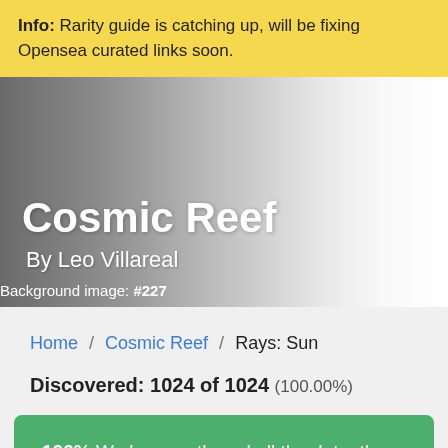Info: Rarity guide is catching up, will be fixing Opensea curated links soon.
[Figure (illustration): Hero banner with gradient background from dark gray to white. Shows 'Cosmic Reef' as large white bold title and 'By Leo Villareal' as subtitle. Bottom-left shows 'Background image: #227' in white text.]
Home / Cosmic Reef / Rays: Sun
Discovered: 1024 of 1024 (100.00%)
100% We have gathered all the data, the listing below should be final and correct.